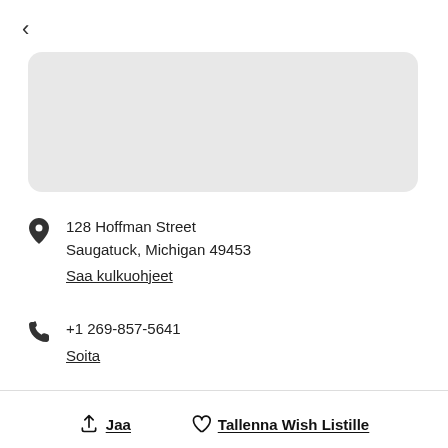[Figure (map): Gray map area placeholder with rounded corners]
128 Hoffman Street
Saugatuck, Michigan 49453
Saa kulkuohjeet
+1 269-857-5641
Soita
Jaa
Tallenna Wish Listille